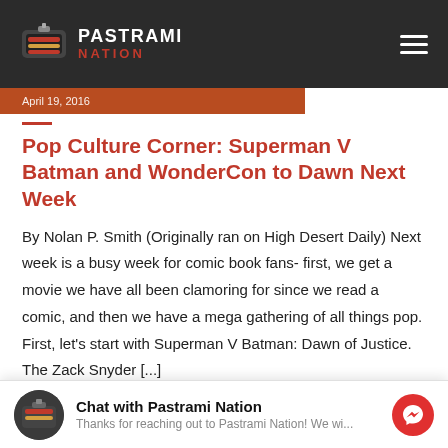PASTRAMI NATION
April 19, 2016
Pop Culture Corner: Superman V Batman and WonderCon to Dawn Next Week
By Nolan P. Smith (Originally ran on High Desert Daily) Next week is a busy week for comic book fans- first, we get a movie we have all been clamoring for since we read a comic, and then we have a mega gathering of all things pop. First, let's start with Superman V Batman: Dawn of Justice. The Zack Snyder [...]
Chat with Pastrami Nation
Thanks for reaching out to Pastrami Nation! We wi...